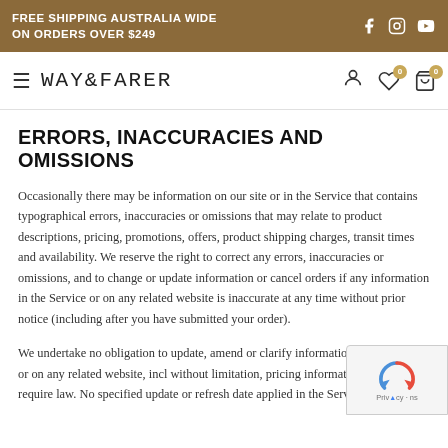FREE SHIPPING AUSTRALIA WIDE ON ORDERS OVER $249
WAY&FARER
ERRORS, INACCURACIES AND OMISSIONS
Occasionally there may be information on our site or in the Service that contains typographical errors, inaccuracies or omissions that may relate to product descriptions, pricing, promotions, offers, product shipping charges, transit times and availability. We reserve the right to correct any errors, inaccuracies or omissions, and to change or update information or cancel orders if any information in the Service or on any related website is inaccurate at any time without prior notice (including after you have submitted your order).
We undertake no obligation to update, amend or clarify information in the Service or on any related website, including without limitation, pricing information, except as required by law. No specified update or refresh date applied in the Service or